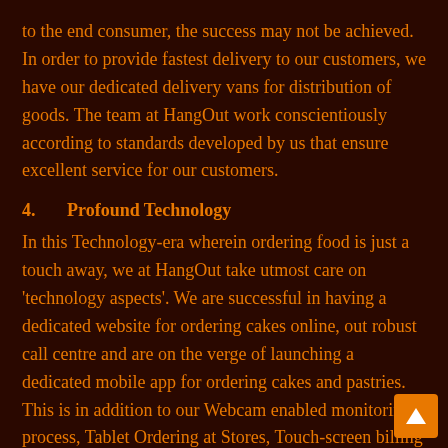to the end consumer, the success may not be achieved. In order to provide fastest delivery to our customers, we have our dedicated delivery vans for distribution of goods. The team at HangOut work conscientiously according to standards developed by us that ensure excellent service for our customers.
4.      Profound Technology
In this Technology-era wherein ordering food is just a touch away, we at HangOut take utmost care on 'technology aspects'. We are successful in having a dedicated website for ordering cakes online, out robust call centre and are on the verge of launching a dedicated mobile app for ordering cakes and pastries. This is in addition to our Webcam enabled monitoring process, Tablet Ordering at Stores, Touch-screen billing system, so on and so forth. The